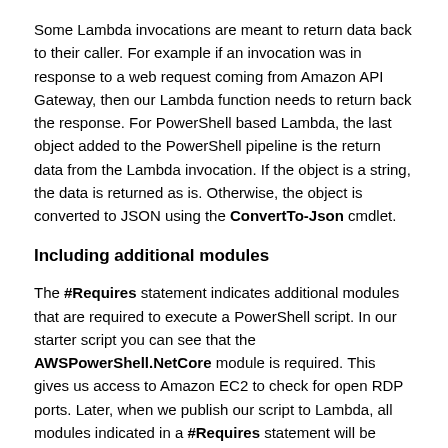Some Lambda invocations are meant to return data back to their caller. For example if an invocation was in response to a web request coming from Amazon API Gateway, then our Lambda function needs to return back the response. For PowerShell based Lambda, the last object added to the PowerShell pipeline is the return data from the Lambda invocation. If the object is a string, the data is returned as is. Otherwise, the object is converted to JSON using the ConvertTo-Json cmdlet.
Including additional modules
The #Requires statement indicates additional modules that are required to execute a PowerShell script. In our starter script you can see that the AWSPowerShell.NetCore module is required. This gives us access to Amazon EC2 to check for open RDP ports. Later, when we publish our script to Lambda, all modules indicated in a #Requires statement will be packaged up with the script as part of our deployment package. The modules will be imported into the PowerShell environment in Lambda before executing the PowerShell script.